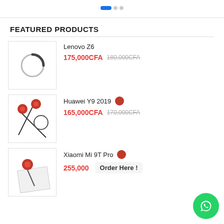navigation dots
FEATURED PRODUCTS
[Figure (photo): Product image placeholder with circular spinner icon for Lenovo Z6]
Lenovo Z6
175,000CFA 180,000CFA
[Figure (photo): Product image with red push pins and circular graphic for Huawei Y9 2019]
Huawei Y9 2019
165,000CFA 170,000CFA
[Figure (photo): Product image with red push pin on paper for Xiaomi Mi 9T Pro]
Xiaomi Mi 9T Pro
255,000 Order Here !
[Figure (logo): WhatsApp green circle button]